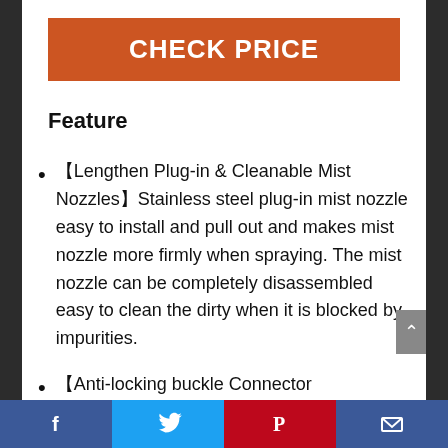CHECK PRICE
Feature
【Lengthen Plug-in & Cleanable Mist Nozzles】Stainless steel plug-in mist nozzle easy to install and pull out and makes mist nozzle more firmly when spraying. The mist nozzle can be completely disassembled easy to clean the dirty when it is blocked by impurities.
【Anti-locking buckle Connector
Facebook | Twitter | Pinterest | Email